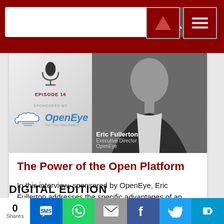[Figure (screenshot): Website navigation bar with search box, search icon, up arrow button, and hamburger menu button on dark red background]
[Figure (photo): Episode 16 podcast banner: left side shows microphone icon, 'EPISODE 16' label, 'SPONSORED BY' text, and OpenEye cloud logo. Right side shows black and white photo of Eric Fullerton, Executive Director, OpenEye.]
The Power of the Open Platform
In this interview, sponsored by OpenEye, Eric Fullerton addresses the specific advantages of an open platform solution. He also talks how an end user can streamline operations and reduce cybersecurity risk in the cloud. Reducing the burden on IT will make it easier to manage and maintain video deployments and integrations of all sizes.
DIGITAL EDITION
0 Shares